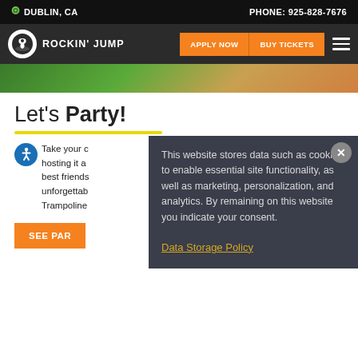DUBLIN, CA   PHONE: 925-828-7676
[Figure (logo): Rockin' Jump logo with navigation buttons APPLY NOW and BUY TICKETS and hamburger menu]
[Figure (photo): Partial image of people at a trampoline park]
Let's Party!
Take your c... hosting it a... best friends... unforgettab... Trampoline...
SEE PAR...
This website stores data such as cookies to enable essential site functionality, as well as marketing, personalization, and analytics. By remaining on this website you indicate your consent.
Data Storage Policy